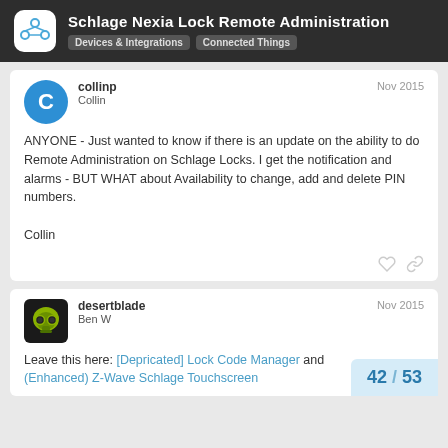Schlage Nexia Lock Remote Administration — Devices & Integrations | Connected Things
collinp
Collin
Nov 2015

ANYONE - Just wanted to know if there is an update on the ability to do Remote Administration on Schlage Locks. I get the notification and alarms - BUT WHAT about Availability to change, add and delete PIN numbers.

Collin
desertblade
Ben W
Nov 2015

Leave this here: [Depricated] Lock Code Manager and (Enhanced) Z-Wave Schlage Touchscreen
42 / 53